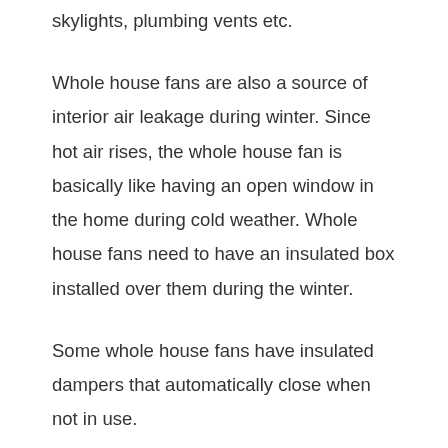skylights, plumbing vents etc.
Whole house fans are also a source of interior air leakage during winter. Since hot air rises, the whole house fan is basically like having an open window in the home during cold weather. Whole house fans need to have an insulated box installed over them during the winter.
Some whole house fans have insulated dampers that automatically close when not in use.